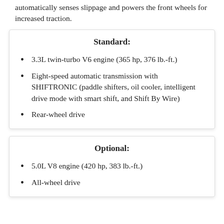automatically senses slippage and powers the front wheels for increased traction.
Standard:
3.3L twin-turbo V6 engine (365 hp, 376 lb.-ft.)
Eight-speed automatic transmission with SHIFTRONIC (paddle shifters, oil cooler, intelligent drive mode with smart shift, and Shift By Wire)
Rear-wheel drive
Optional:
5.0L V8 engine (420 hp, 383 lb.-ft.)
All-wheel drive